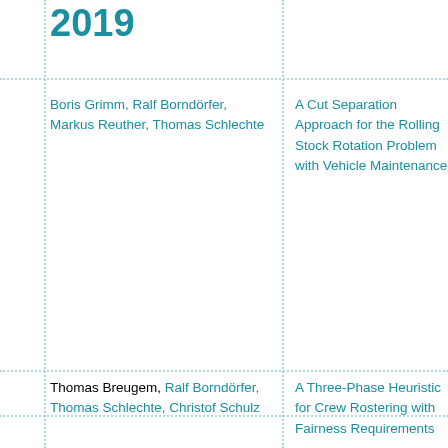2019
Boris Grimm, Ralf Borndörfer, Markus Reuther, Thomas Schlechte
A Cut Separation Approach for the Rolling Stock Rotation Problem with Vehicle Maintenance
Thomas Breugem, Ralf Borndörfer, Thomas Schlechte, Christof Schulz
A Three-Phase Heuristic for Crew Rostering with Fairness Requirements
Isabel Beckenbach
Matchings and Flows in Hypergraphs